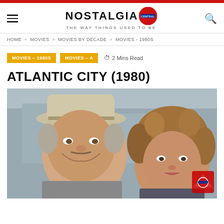Nostalgia Central — THE WAY THINGS USED TO BE
HOME » MOVIES » MOVIES BY DECADE » MOVIES - 1980S
MOVIES – 1980S   MOVIES – A   2 Mins Read
ATLANTIC CITY (1980)
[Figure (photo): Promotional photo of two actors from Atlantic City (1980): an older man in a white fedora hat smiling, and a younger woman with curly hair, both shown from shoulders up against an urban background.]